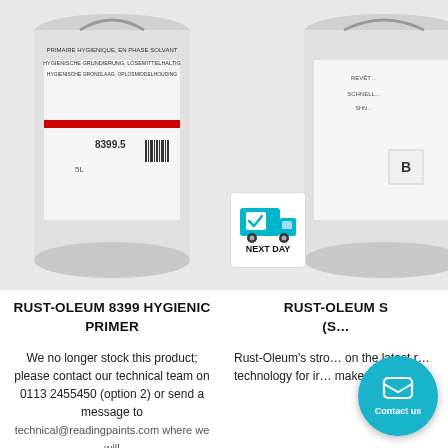[Figure (photo): Paint can for Rust-Oleum 8399 Hygienic Primer, showing product label with multilingual text]
[Figure (photo): Paint can for Rust-Oleum product (partially visible), with Next Day delivery badge]
RUST-OLEUM 8399 HYGIENIC PRIMER
RUST-OLEUM S (S…)
We no longer stock this product; please contact our technical team on 0113 2455450 (option 2) or send a message to technical@readingpaints.com where we will
Rust-Oleum's stro… on the latest r… technology for ir… makes Rust-Ole…
This website uses cookies to ensure you get the best experience on our website.
Learn more
Got it!